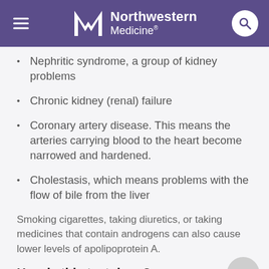Northwestern Medicine
Nephritic syndrome, a group of kidney problems
Chronic kidney (renal) failure
Coronary artery disease. This means the arteries carrying blood to the heart become narrowed and hardened.
Cholestasis, which means problems with the flow of bile from the liver
Smoking cigarettes, taking diuretics, or taking medicines that contain androgens can also cause lower levels of apolipoprotein A.
How is this test done?